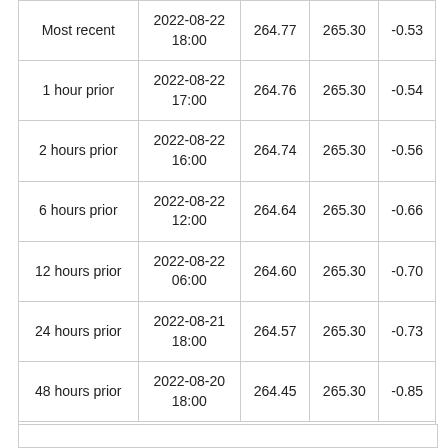|  | Date/Time | Value | Reference | Difference |
| --- | --- | --- | --- | --- |
| Most recent | 2022-08-22 18:00 | 264.77 | 265.30 | -0.53 |
| 1 hour prior | 2022-08-22 17:00 | 264.76 | 265.30 | -0.54 |
| 2 hours prior | 2022-08-22 16:00 | 264.74 | 265.30 | -0.56 |
| 6 hours prior | 2022-08-22 12:00 | 264.64 | 265.30 | -0.66 |
| 12 hours prior | 2022-08-22 06:00 | 264.60 | 265.30 | -0.70 |
| 24 hours prior | 2022-08-21 18:00 | 264.57 | 265.30 | -0.73 |
| 48 hours prior | 2022-08-20 18:00 | 264.45 | 265.30 | -0.85 |
* Data is provisional and subject to revision.